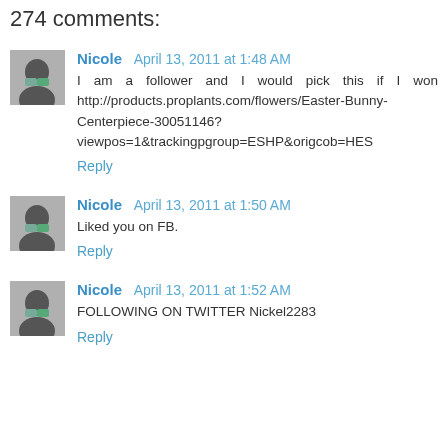274 comments:
Nicole  April 13, 2011 at 1:48 AM
I am a follower and I would pick this if I won http://products.proplants.com/flowers/Easter-Bunny-Centerpiece-30051146?viewpos=1&trackingpgroup=ESHP&origcob=HES
Reply
Nicole  April 13, 2011 at 1:50 AM
Liked you on FB.
Reply
Nicole  April 13, 2011 at 1:52 AM
FOLLOWING ON TWITTER Nickel2283
Reply